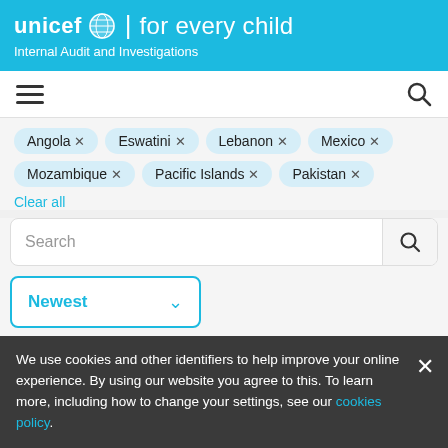unicef | for every child — Internal Audit and Investigations
Angola ×
Eswatini ×
Lebanon ×
Mexico ×
Mozambique ×
Pacific Islands ×
Pakistan ×
Clear all
Search
Newest
Locations — 7 selected ×
We use cookies and other identifiers to help improve your online experience. By using our website you agree to this. To learn more, including how to change your settings, see our cookies policy.